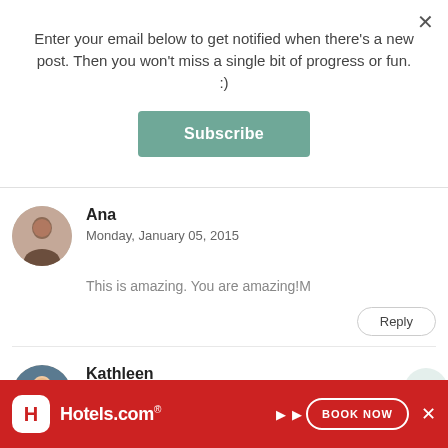Enter your email below to get notified when there's a new post. Then you won't miss a single bit of progress or fun. :)
Subscribe
Ana
Monday, January 05, 2015
This is amazing. You are amazing!M
Reply
Kathleen
Monday, January 05, 2015